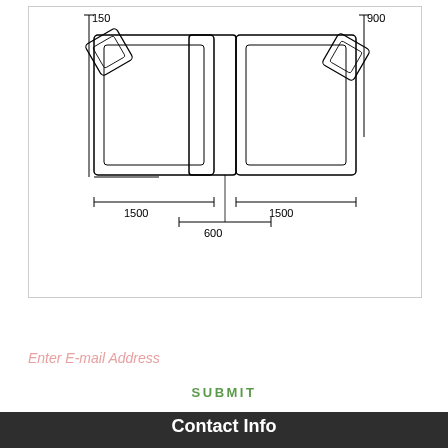[Figure (engineering-diagram): Top-view architectural/furniture layout diagram showing two seating units with chairs, dimensioned with measurements: 150 (top left), 900 (top right), 600 (center width), 1500 (left span), 1500 (right span)]
Enter E-mail Address
SUBMIT
Contact Info